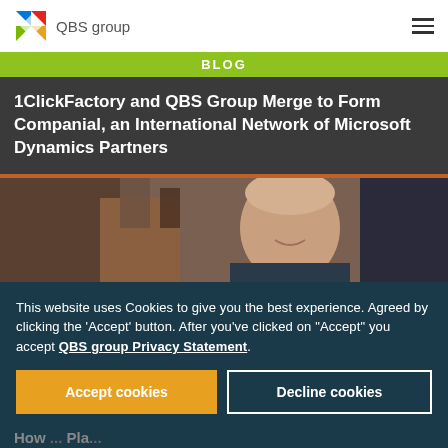QBS group
BLOG
1ClickFactory and QBS Group Merge to Form Companial, an International Network of Microsoft Dynamics Partners
[Figure (photo): Photo of a smiling man at a desk, with industrial/office background]
This website uses Cookies to give you the best experience. Agreed by clicking the 'Accept' button. After you've clicked on "Accept" you accept QBS group Privacy Statement.
Accept cookies
Decline cookies
How ... Pla...